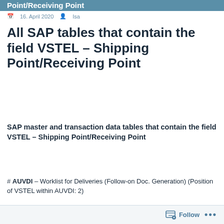Point/Receiving Point
16. April 2020   Isa
All SAP tables that contain the field VSTEL – Shipping Point/Receiving Point
SAP master and transaction data tables that contain the field VSTEL – Shipping Point/Receiving Point
# AUVDI – Worklist for Deliveries (Follow-on Doc. Generation) (Position of VSTEL within AUVDI: 2)
Follow